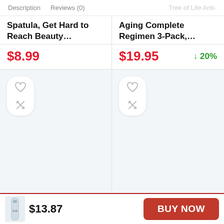Description   Reviews (0)   Tree of Life Anti-
Spatula, Get Hard to Reach Beauty…
Aging Complete Regimen 3-Pack,...
$8.99
$19.95   ↓ 20%
[Figure (illustration): Wishlist and shuffle icon buttons for First Aid Beauty product card]
[Figure (illustration): Wishlist and shuffle icon buttons for R+Co Waterfall product card]
First Aid Beauty
R+Co Waterfall
$13.87
BUY NOW